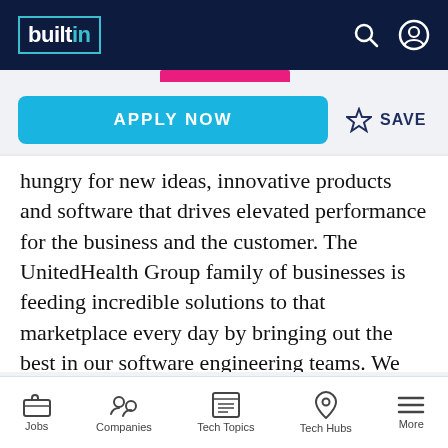builtin — navigation bar with search and profile icons
APPLY NOW
SAVE
hungry for new ideas, innovative products and software that drives elevated performance for the business and the customer. The UnitedHealth Group family of businesses is feeding incredible solutions to that marketplace every day by bringing out the best in our software engineering teams. We serve customers across the health system. Not only do we have more of them every day, we also have
Jobs   Companies   Tech Topics   Tech Hubs   More